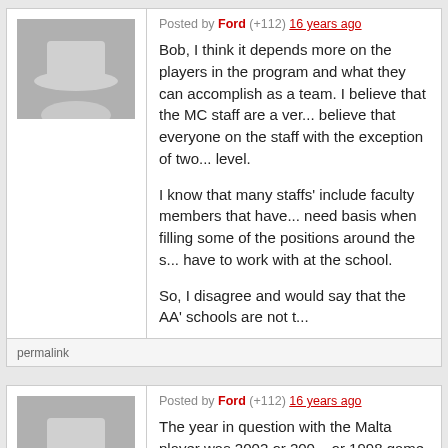Posted by Ford (+112) 16 years ago
Bob, I think it depends more on the players in the program and what they can accomplish as a team. I believe that the MC staff are a ver... believe that everyone on the staff with the exception of two... level.

I know that many staffs' include faculty members that have... need basis when filling some of the positions around the s... have to work with at the school.

So, I disagree and would say that the AA' schools are not t...
permalink
Posted by Ford (+112) 16 years ago
The year in question with the Malta player was 2002 or 200... or 1998 game and was from Bozeman. Dorsch actually we... kickers at the national level. I believe he won the top kicker... went on to be drafted and cut by the Bengals. Then I lost t... thought he was a better punter.